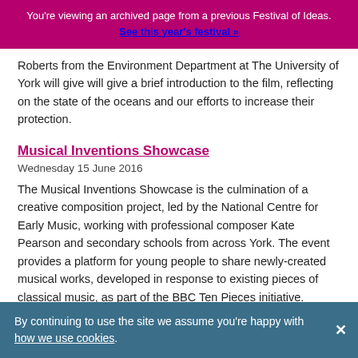You're viewing an archived page from a previous Festival of Ideas. See this year's festival »
Roberts from the Environment Department at The University of York will give will give a brief introduction to the film, reflecting on the state of the oceans and our efforts to increase their protection.
Musical Inventions Showcase
Wednesday 15 June 2016
The Musical Inventions Showcase is the culmination of a creative composition project, led by the National Centre for Early Music, working with professional composer Kate Pearson and secondary schools from across York. The event provides a platform for young people to share newly-created musical works, developed in response to existing pieces of classical music, as part of the BBC Ten Pieces initiative.
By continuing to use the site we assume you're happy with how we use cookies.